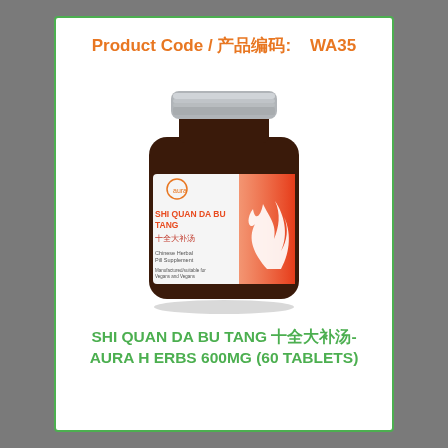Product Code / 产品编码:    WA35
[Figure (photo): A dark amber glass bottle with silver lid featuring the Aura Herbs brand label showing 'SHI QUAN DA BU TANG 十全大补汤' with a red flame graphic design on white label.]
SHI QUAN DA BU TANG 十全大补汤- AURA HERBS 600MG (60 TABLETS)